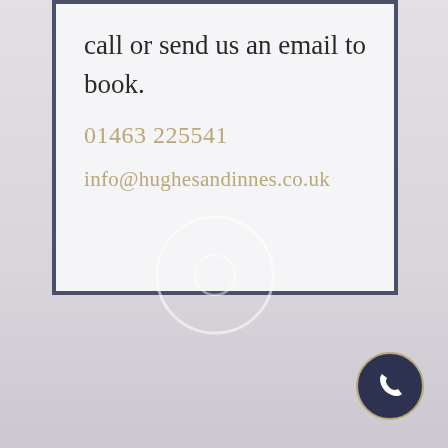call or send us an email to book.
01463 225541
info@hughesandinnes.co.uk
[Figure (logo): Circular watermark logo, light outline only, partially transparent]
[Figure (illustration): Dark navy circular phone call button with white telephone handset icon, positioned bottom-right corner]